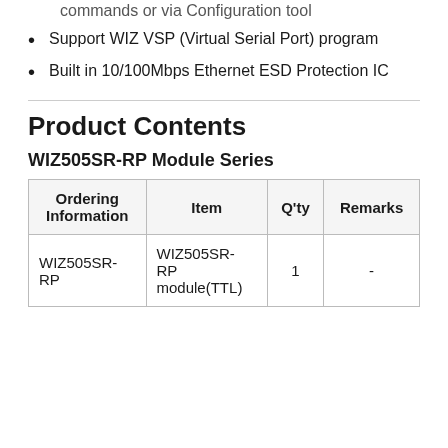commands or via Configuration tool
Support WIZ VSP (Virtual Serial Port) program
Built in 10/100Mbps Ethernet ESD Protection IC
Product Contents
WIZ505SR-RP Module Series
| Ordering Information | Item | Q'ty | Remarks |
| --- | --- | --- | --- |
| WIZ505SR-RP | WIZ505SR-RP module(TTL) | 1 | - |